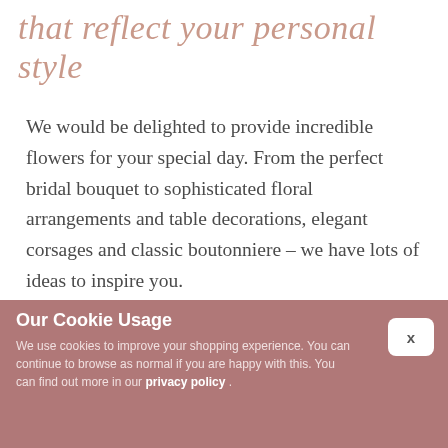that reflect your personal style
We would be delighted to provide incredible flowers for your special day. From the perfect bridal bouquet to sophisticated floral arrangements and table decorations, elegant corsages and classic boutonniere – we have lots of ideas to inspire you.
Planning for a wedding can be an exhausting time. Let A Clucas and Co take the stress away from the
Our Cookie Usage
We use cookies to improve your shopping experience. You can continue to browse as normal if you are happy with this. You can find out more in our privacy policy .